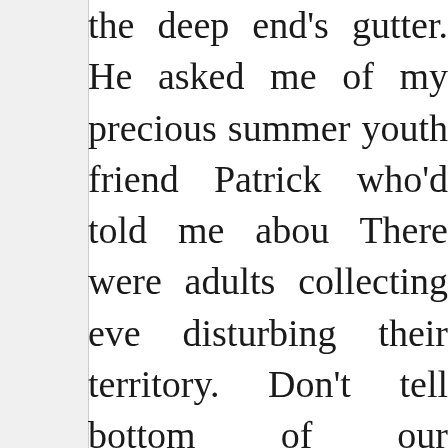the deep end's gutter. He asked me of my precious summer youth friend Patrick who'd told me about. There were adults collecting eve disturbing their territory. Don't tell bottom of our economy.

With education for the taking most the money thrown far and wide f something? Yet money isn't circula have this nice basic reality used solve. Inflation. Well, it's a fact of li remain destroyed by it. Unable replenishing financial treadmill t